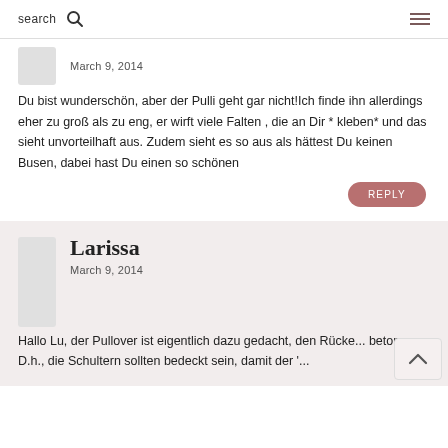search  🔍  ☰
March 9, 2014
Du bist wunderschön, aber der Pulli geht gar nicht!Ich finde ihn allerdings eher zu groß als zu eng, er wirft viele Falten , die an Dir * kleben* und das sieht unvorteilhaft aus. Zudem sieht es so aus als hättest Du keinen Busen, dabei hast Du einen so schönen
REPLY
Larissa
March 9, 2014
Hallo Lu, der Pullover ist eigentlich dazu gedacht, den Rücke... betonen. D.h., die Schultern sollten bedeckt sein, damit der '...